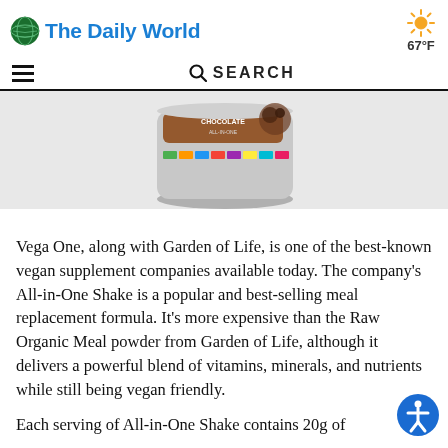The Daily World  67°F
[Figure (logo): The Daily World newspaper logo with globe icon and blue text]
[Figure (photo): Vega One All-in-One Shake Chocolate Flavor product container (silver canister with colorful label)]
Vega One, along with Garden of Life, is one of the best-known vegan supplement companies available today. The company's All-in-One Shake is a popular and best-selling meal replacement formula. It's more expensive than the Raw Organic Meal powder from Garden of Life, although it delivers a powerful blend of vitamins, minerals, and nutrients while still being vegan friendly.
Each serving of All-in-One Shake contains 20g of